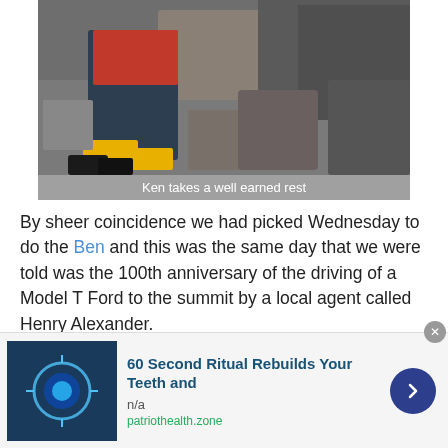[Figure (photo): Person lying down resting on rocky ground wearing dark clothing with red jacket and yellow gloves]
Ken takes a well earned rest
By sheer coincidence we had picked Wednesday to do the Ben and this was the same day that we were told was the 100th anniversary of the driving of a Model T Ford to the summit by a local agent called Henry Alexander.
On our way up to the Ski station the day before we'd talked to a forester working in a gang near the cycle track
[Figure (other): Advertisement: 60 Second Ritual Rebuilds Your Teeth and - patriothealth.zone]